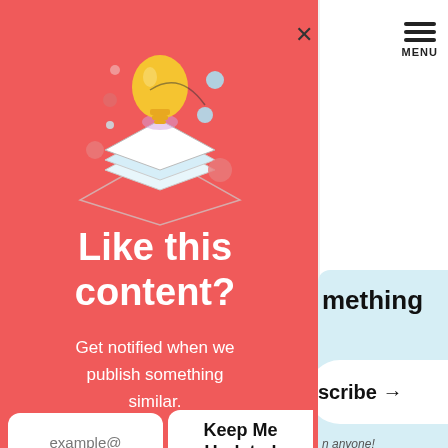[Figure (screenshot): A modal popup overlay on a website. The modal has a coral/red background and shows an illustration of a lightbulb emerging from stacked papers with decorative circles. Text reads 'Like this content?' and 'Get notified when we publish something similar.' Below are two buttons: an email input field with placeholder 'example@' and a 'Keep Me Updated' button. The background shows a partially visible website with a menu icon, light blue card, subscribe button, and 'anyone!' text.]